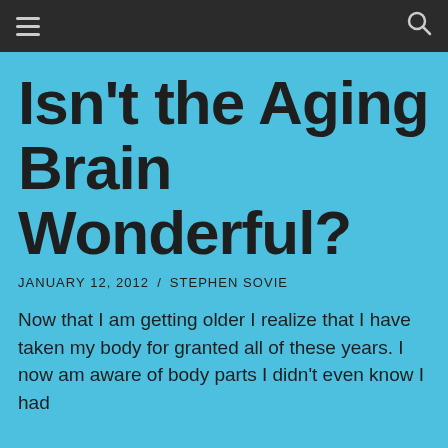≡   🔍
Isn't the Aging Brain Wonderful?
JANUARY 12, 2012  /  STEPHEN SOVIE
Now that I am getting older I realize that I have taken my body for granted all of these years. I now am aware of body parts I didn't even know I had